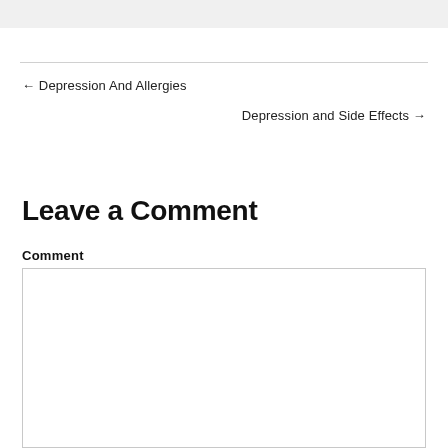← Depression And Allergies
Depression and Side Effects →
Leave a Comment
Comment